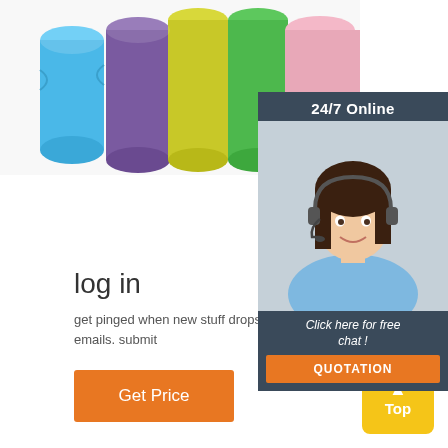[Figure (photo): Colorful rolls of flexible material (blue, purple, yellow, green, pink) arranged together on a white background]
[Figure (photo): Chat widget showing a female customer service agent with headset, dark header with '24/7 Online', italic text 'Click here for free chat !', and an orange QUOTATION button]
log in
get pinged when new stuff drops! sign up to emails. submit
Get Price
Top